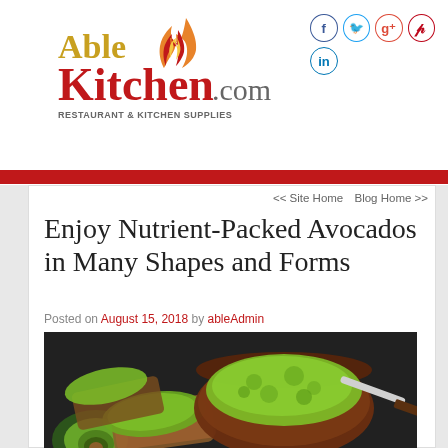[Figure (logo): AbleKitchen.com logo with flame graphic, text reads 'Able Kitchen.com RESTAURANT & KITCHEN SUPPLIES']
[Figure (infographic): Social media icons: Facebook, Twitter, Google+, Pinterest (top row), LinkedIn (bottom row) — circular bordered icons]
Enjoy Nutrient-Packed Avocados in Many Shapes and Forms
Posted on August 15, 2018 by ableAdmin
[Figure (photo): Dark food photography showing mashed avocado/guacamole in a brown bowl with a knife, slices of avocado toast on bread, and fresh avocado halves on a dark slate surface]